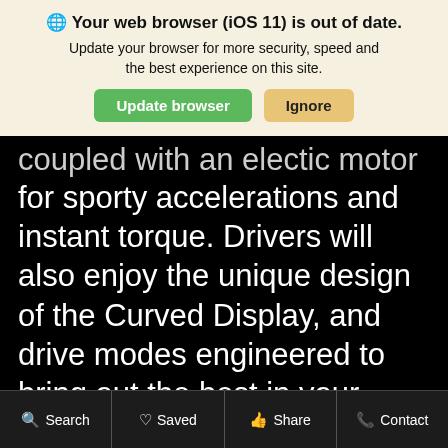🌐 Your web browser (iOS 11) is out of date. Update your browser for more security, speed and the best experience on this site.
Update browser | Ignore
coupled with an electic motor for sporty accelerations and instant torque. Drivers will also enjoy the unique design of the Curved Display, and drive modes engineered to bring out the best in your hybrid.
Search  Saved  Share  Contact